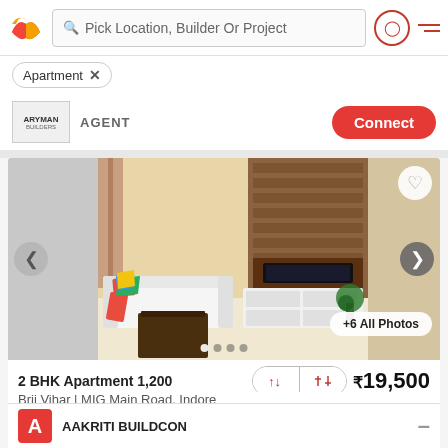Pick Location, Builder Or Project
Apartment ×
AGENT  Connect
[Figure (photo): Interior photo of a furnished apartment living room with white sofa, colorful pillows, coffee table, and TV unit with wooden paneling]
+6 All Photos
2 BHK Apartment 1,200  ₹19,500
Brij Vihar | MIG Main Road, Indore
2 BHK Apartments for rent in MIG Main Road Indore: It is a f...  More
AAKRITI BUILDCON